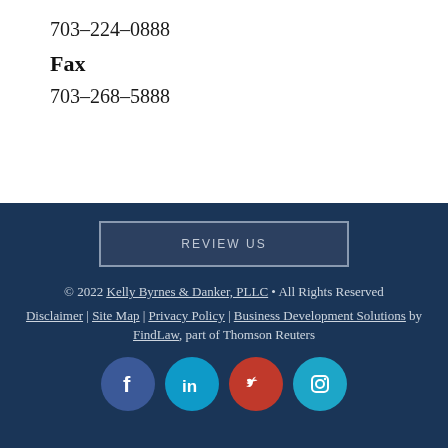703-224-0888
Fax
703-268-5888
REVIEW US
© 2022 Kelly Byrnes & Danker, PLLC • All Rights Reserved
Disclaimer | Site Map | Privacy Policy | Business Development Solutions by FindLaw, part of Thomson Reuters
[Figure (other): Social media icons: Facebook, LinkedIn, Twitter, Instagram]